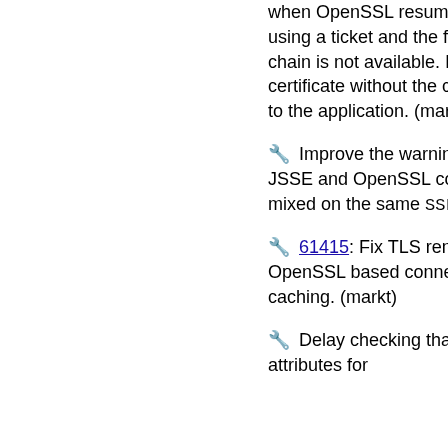when OpenSSL resumes a TLS session using a ticket and the full client certificate chain is not available. In this case the client certificate without the chain will be presented to the application. (markt)
🔧 Improve the warning message when JSSE and OpenSSL configuration styles are mixed on the same SSLHostConfig. (markt)
🔧 61415: Fix TLS renegotiation with OpenSSL based connections and session caching. (markt)
🔧 Delay checking that the configured attributes for